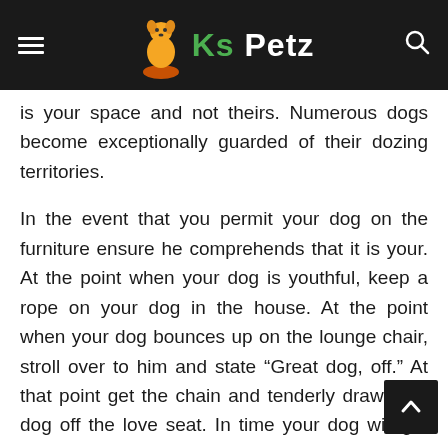Ks Petz
is your space and not theirs. Numerous dogs become exceptionally guarded of their dozing territories.
In the event that you permit your dog on the furniture ensure he comprehends that it is your. At the point when your dog is youthful, keep a rope on your dog in the house. At the point when your dog bounces up on the lounge chair, stroll over to him and state “Great dog, off.” At that point get the chain and tenderly draw your dog off the love seat. In time your dog will get familiar with the order and get off when you say as much.
Those are the essential strides to turning into a dog whisperer. Finding out about dog conduct is a deep rooted examination. Following 18 years of preparing